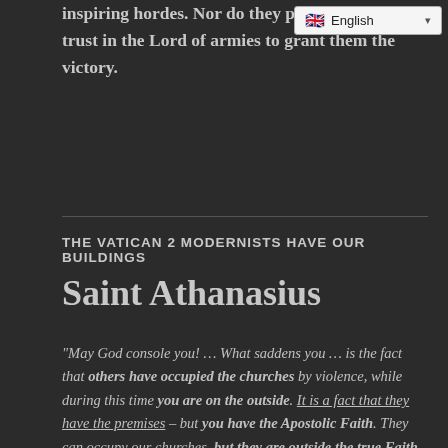inspiring hordes. Nor do they put their trust in their own strength, but trust in the Lord of armies to grant them the victory.
THE VATICAN 2 MODERNISTS HAVE OUR BUILDINGS
Saint Athanasius
"May God console you! … What saddens you … is the fact that others have occupied the churches by violence, while during this time you are on the outside. It is a fact that they have the premises – but you have the Apostolic Faith. They can occupy our churches, but they are outside the true Faith. You remain outside the places of worship, but the Faith dwells within you. Let us consider: which is more important, the place or the Faith?